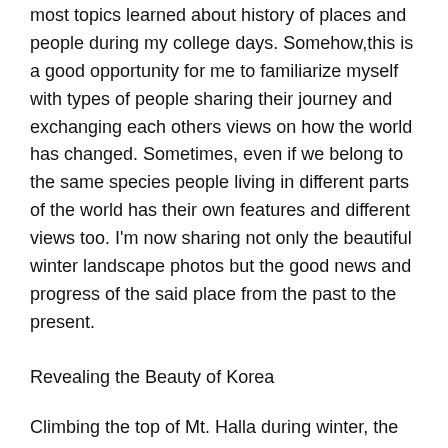most topics learned about history of places and people during my college days. Somehow,this is a good opportunity for me to familiarize myself with types of people sharing their journey and exchanging each others views on how the world has changed. Sometimes, even if we belong to the same species people living in different parts of the world has their own features and different views too. I'm now sharing not only the beautiful winter landscape photos but the good news and progress of the said place from the past to the present.
Revealing the Beauty of Korea
Climbing the top of Mt. Halla during winter, the highest mountain of North Korea. Is this your dream destination? It looks like a white world, everything is covered with ice and